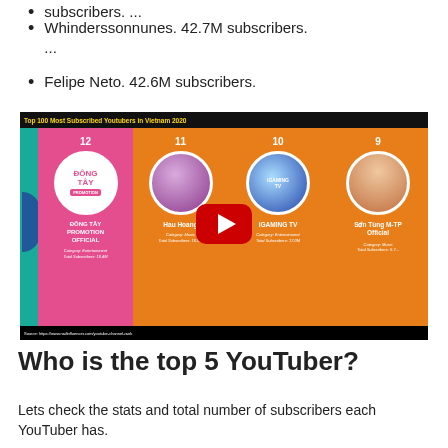subscribers. ...
Whinderssonnunes. 42.7M subscribers. ...
Felipe Neto. 42.6M subscribers.
[Figure (screenshot): Video thumbnail showing 'Top 100 Most Subscribed Youtubers in Vietnam 2020' with panels showing ranked YouTubers: #12 Dong Tay Promotion Official, #11 Hau Hoang, #10 iGAMING TV, #9 Son Tung M-TP Official, with a YouTube play button overlay.]
Who is the top 5 YouTuber?
Lets check the stats and total number of subscribers each YouTuber has.